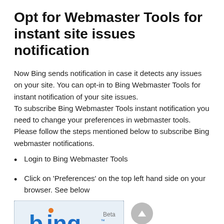Opt for Webmaster Tools for instant site issues notification
Now Bing sends notification in case it detects any issues on your site. You can opt-in to Bing Webmaster Tools for instant notification of your site issues.
To subscribe Bing Webmaster Tools instant notification you need to change your preferences in webmaster tools. Please follow the steps mentioned below to subscribe Bing webmaster notifications.
Login to Bing Webmaster Tools
Click on ‘Preferences’ on the top left hand side on your browser. See below
[Figure (screenshot): Screenshot of the Bing beta logo interface]